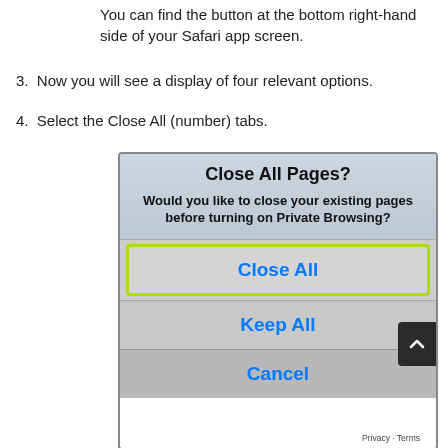You can find the button at the bottom right-hand side of your Safari app screen.
3. Now you will see a display of four relevant options.
4. Select the Close All (number) tabs.
[Figure (screenshot): iOS Safari dialog box titled 'Close All Pages?' with subtitle 'Would you like to close your existing pages before turning on Private Browsing?' and three buttons: 'Close All' (highlighted with green border), 'Keep All', and 'Cancel'.]